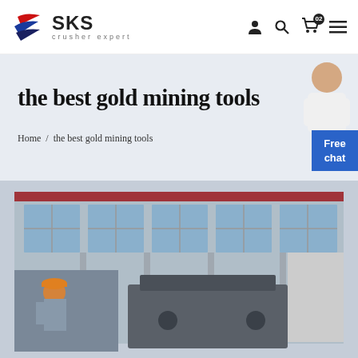SKS crusher expert — navigation header with icons
the best gold mining tools
Home / the best gold mining tools
Free chat
[Figure (photo): Industrial factory building with large glass windows and steel structure; inset of worker in orange hard hat examining heavy machinery]